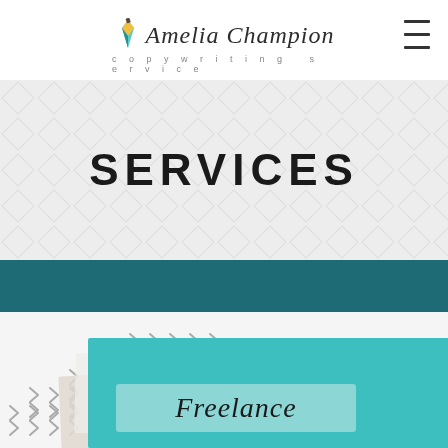[Figure (logo): Amelia Champion copywriting service logo with pen icon in teal/yellow]
SERVICES
[Figure (illustration): Teal card with 'Freelance' text, layered papers with chevron arrow pattern decoration in bottom half of page]